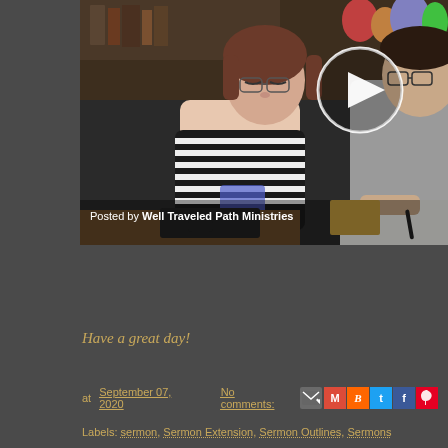[Figure (screenshot): Video thumbnail showing two people at a table with text overlay 'Posted by Well Traveled Path Ministries' and a play button]
Have a great day!
at September 07, 2020   No comments:
Labels: sermon, Sermon Extension, Sermon Outlines, Sermons